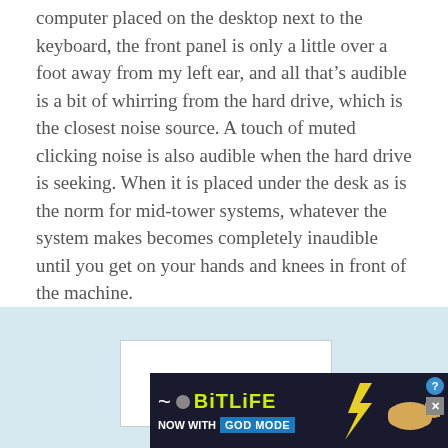computer placed on the desktop next to the keyboard, the front panel is only a little over a foot away from my left ear, and all that's audible is a bit of whirring from the hard drive, which is the closest noise source. A touch of muted clicking noise is also audible when the hard drive is seeking. When it is placed under the desk as is the norm for mid-tower systems, whatever the system makes becomes completely inaudible until you get on your hands and knees in front of the machine.
[Figure (other): White rectangle box, partially visible, likely an image placeholder in an article]
[Figure (other): BitLife advertisement banner: 'NOW WITH GOD MODE' with lightning bolt graphic and pointing hand illustration, with help and close icons]